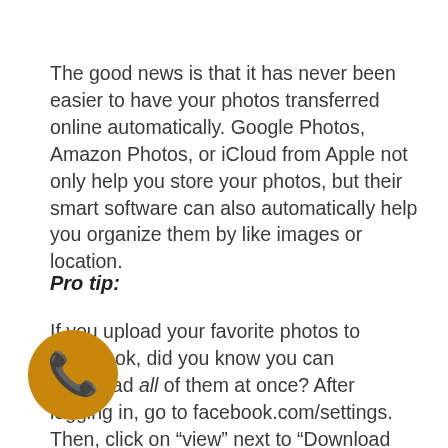The good news is that it has never been easier to have your photos transferred online automatically. Google Photos, Amazon Photos, or iCloud from Apple not only help you store your photos, but their smart software can also automatically help you organize them by like images or location.
Pro tip:
If you upload your favorite photos to Facebook, did you know you can download all of them at once? After logging in, go to facebook.com/settings. Then, click on “view” next to “Download Your Information.” This will take you to the downloads page. Select the “Date range” as “All time” in the pull-down. Just below, at the right of the top of “Select information to download,” be sure to “Deselect
[Figure (illustration): Orange circular phone/call icon badge in bottom-left corner of page]